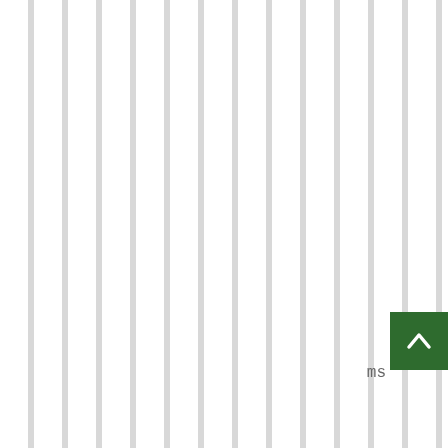And outplay Brady is what he did. Consider this: Brady led his offense on 6 total scoring drives- 4 TD's and 2 field goals while Foles led his offense on 8 total scoring drives- 5 TD's and 3 field goals to win the S.B. game and be named MVP.
Those are the facts that I can come up with for you.
Log in or register to post comments